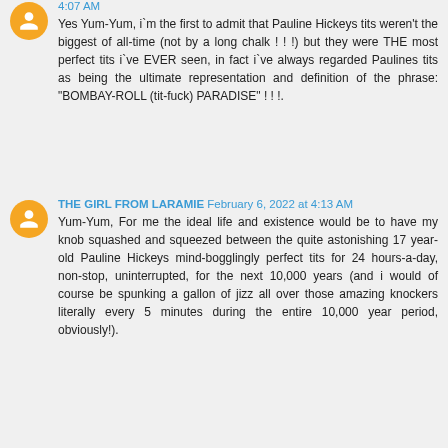4:07 AM
Yes Yum-Yum, i`m the first to admit that Pauline Hickeys tits weren't the biggest of all-time (not by a long chalk ! ! !) but they were THE most perfect tits i`ve EVER seen, in fact i`ve always regarded Paulines tits as being the ultimate representation and definition of the phrase: "BOMBAY-ROLL (tit-fuck) PARADISE" ! ! !.
THE GIRL FROM LARAMIE  February 6, 2022 at 4:13 AM
Yum-Yum, For me the ideal life and existence would be to have my knob squashed and squeezed between the quite astonishing 17 year-old Pauline Hickeys mind-bogglingly perfect tits for 24 hours-a-day, non-stop, uninterrupted, for the next 10,000 years (and i would of course be spunking a gallon of jizz all over those amazing knockers literally every 5 minutes during the entire 10,000 year period, obviously!).